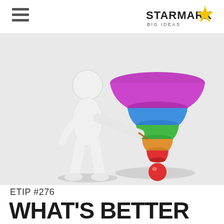STARMARK BIG IDEAS
[Figure (illustration): 3D white mannequin figure pointing a stick at a colorful marketing funnel with layers in purple, blue, green, orange, and red, with a red ball at the bottom, on a light gray background]
ETIP #276
WHAT'S BETTER THAN LAST CLICK